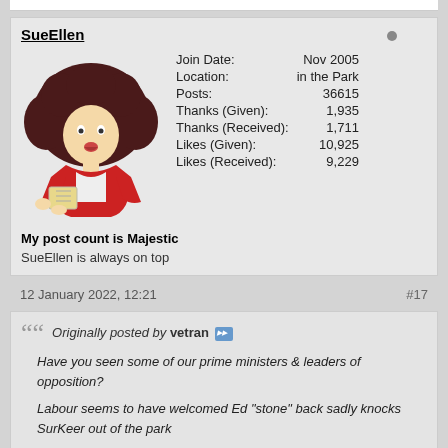SueEllen
[Figure (illustration): Cartoon avatar of a woman with large curly dark hair, wearing a red jacket, holding a book/notepad]
| Field | Value |
| --- | --- |
| Join Date: | Nov 2005 |
| Location: | in the Park |
| Posts: | 36615 |
| Thanks (Given): | 1,935 |
| Thanks (Received): | 1,711 |
| Likes (Given): | 10,925 |
| Likes (Received): | 9,229 |
My post count is Majestic
SueEllen is always on top
12 January 2022, 12:21
#17
Originally posted by vetran
Have you seen some of our prime ministers & leaders of opposition?
Labour seems to have welcomed Ed "stone" back sadly knocks SurKeer out of the park